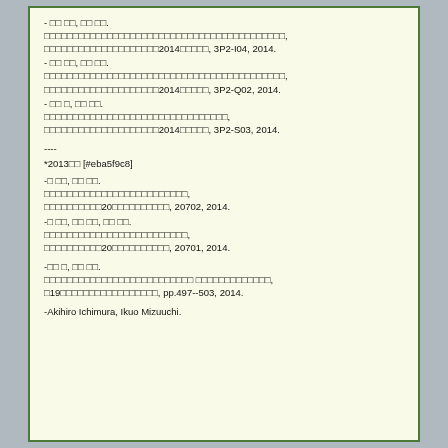- □□ □□, □□ □□. □□□□□□□□□□□□□□□□□□□□□□□□□□□□□□□□□□□□□□□□□□, □□□□□□□□□□□□□□□□□□□□2014□□□□□, 3P2-I04, 2014.
- □□ □□, □□ □□. □□□□□□□□□□□□□□□□□□□□□□□□□□□□□□□□□□□□□□□□□□, □□□□□□□□□□□□□□□□□□□□2014□□□□□, 3P2-Q02, 2014.
- □□ □, □□ □□. □□□□□□□□□□□□□□□□□□□□□□□□□□□□□□□□, □□□□□□□□□□□□□□□□□□□□2014□□□□□, 3P2-S03, 2014.
----
*2013□□ [#eba5f9c8]
-□ □□, □□ □□. □□□□□□□□□□□□□□□□□□□□□□□□□, □□□□□□□□□□20□□□□□□□□□□, 20702, 2014.
-□ □□, □□ □□, □□ □□. □□□□□□□□□□□□□□□□□□□□□□□□□, □□□□□□□□□□20□□□□□□□□□□, 20701, 2014.
-□□ □, □□ □□. □□□□□□□□□□□□□□□□□□□□□□□□□□ □□□□□□□□□□□□□, □19□□□□□□□□□□□□□□□□□, pp.497--503, 2014.
-Akihiro Ichimura, Ikuo Mizuuchi.